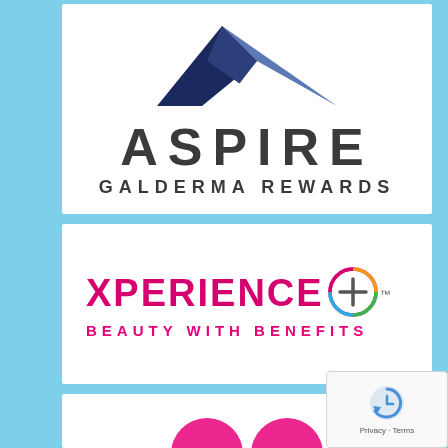[Figure (logo): Aspire Galderma Rewards logo: geometric triangular chevron/arrow shape in dark navy and medium blue above the text ASPIRE in large spaced letters and GALDERMA REWARDS in smaller spaced letters]
[Figure (logo): Xperience+ Beauty With Benefits logo: XPERIENCE+ in large pink/magenta letters with a multicolored circular plus icon, and BEAUTY WITH BENEFITS in smaller spaced pink letters below]
[Figure (logo): Partial third logo visible at bottom, partially cut off, with pink/magenta circular elements]